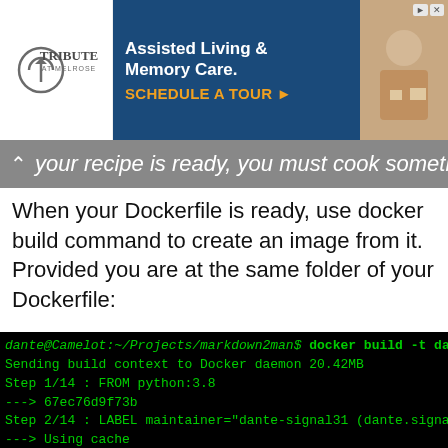[Figure (screenshot): Advertisement banner for Tribute at Melrose - Assisted Living & Memory Care with Schedule a Tour CTA]
your recipe is ready, you must cook something with it.
When your Dockerfile is ready, use docker build command to create an image from it. Provided you are at the same folder of your Dockerfile:
[Figure (screenshot): Terminal output showing docker build command execution: dante@Camelot:~/Projects/markdown2man$ docker build -t da... Sending build context to Docker daemon  20.42MB Step 1/14 : FROM python:3.8 ---> 67ec76d9f73b Step 2/14 : LABEL maintainer="dante-signal31 (dante.signa... ---> Using cache ---> ca94c01e56af Step 3/14 : LABEL description="Image to run markdown2man... ---> Using cache ---> b749bd5d4bab Step 4/14 : LABEL homepage="https://github.com/dante-sign... ---> Using cache ---> 0869d30775e0 Step 5/14 : RUN set -e]